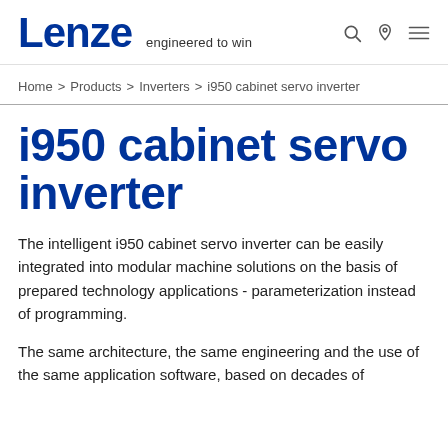Lenze — engineered to win
Home > Products > Inverters > i950 cabinet servo inverter
i950 cabinet servo inverter
The intelligent i950 cabinet servo inverter can be easily integrated into modular machine solutions on the basis of prepared technology applications - parameterization instead of programming.
The same architecture, the same engineering and the use of the same application software, based on decades of